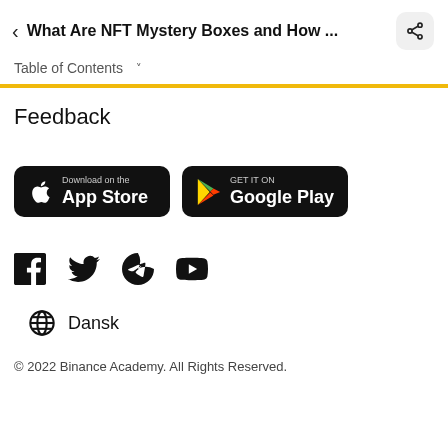< What Are NFT Mystery Boxes and How ...
Table of Contents ▾
Feedback
[Figure (screenshot): Download on the App Store button and GET IT ON Google Play button]
[Figure (screenshot): Social media icons: Facebook, Twitter, Telegram, YouTube]
Dansk
© 2022 Binance Academy. All Rights Reserved.